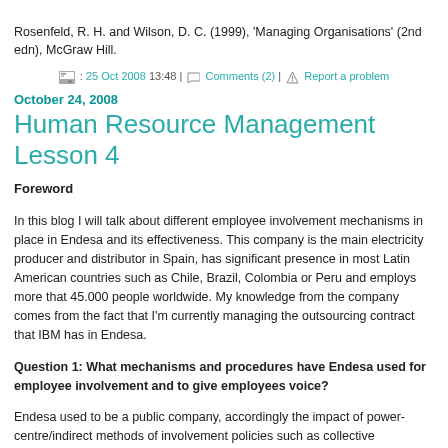Rosenfeld, R. H. and Wilson, D. C. (1999), 'Managing Organisations' (2nd edn), McGraw Hill.
: 25 Oct 2008 13:48 | Comments (2) | Report a problem
October 24, 2008
Human Resource Management Lesson 4
Foreword
In this blog I will talk about different employee involvement mechanisms in place in Endesa and its effectiveness. This company is the main electricity producer and distributor in Spain, has significant presence in most Latin American countries such as Chile, Brazil, Colombia or Peru and employs more that 45.000 people worldwide. My knowledge from the company comes from the fact that I'm currently managing the outsourcing contract that IBM has in Endesa.
Question 1: What mechanisms and procedures have Endesa used for employee involvement and to give employees voice?
Endesa used to be a public company, accordingly the impact of power-centre/indirect methods of involvement policies such as collective bargaining has been historically high. However, in the last years the prominence of collective bargaining is declining in favour of high performance systems in which negotiation over a wide range of subjects, affecting workforce's